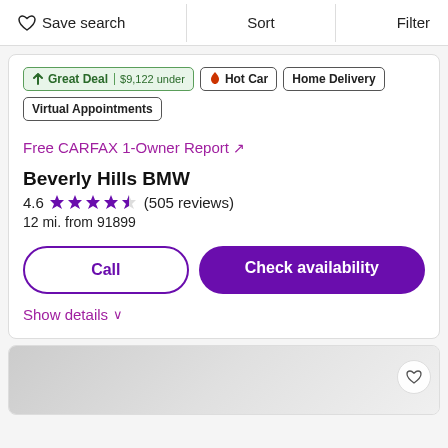♡ Save search | Sort | Filter
Great Deal | $9,122 under   Hot Car   Home Delivery   Virtual Appointments
Free CARFAX 1-Owner Report ↗
Beverly Hills BMW
4.6 ★★★★½ (505 reviews)
12 mi. from 91899
Call
Check availability
Show details ∨
[Figure (photo): Bottom card with gray gradient car image thumbnail]